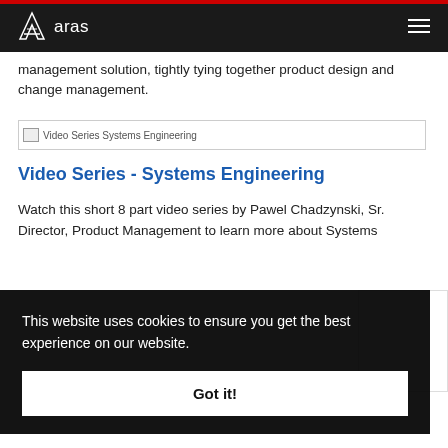aras
management solution, tightly tying together product design and change management.
[Figure (screenshot): Video Series Systems Engineering image placeholder]
Video Series - Systems Engineering
Watch this short 8 part video series by Pawel Chadzynski, Sr. Director, Product Management to learn more about Systems
This website uses cookies to ensure you get the best experience on our website.
Got it!
Engineering Leaders